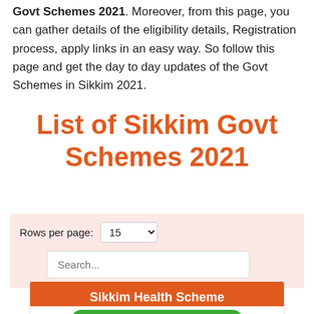Govt Schemes 2021. Moreover, from this page, you can gather details of the eligibility details, Registration process, apply links in an easy way. So follow this page and get the day to day updates of the Govt Schemes in Sikkim 2021.
List of Sikkim Govt Schemes 2021
Rows per page: 15  Search...
Sikkim Health Scheme
APPLY